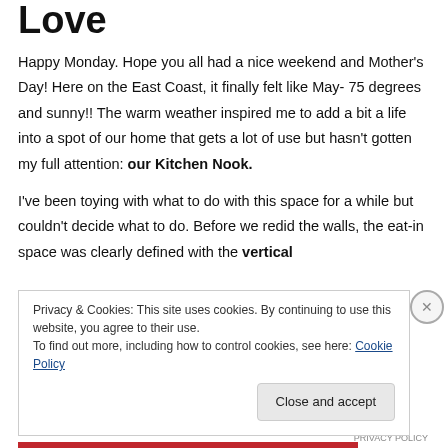Love
Happy Monday. Hope you all had a nice weekend and Mother's Day! Here on the East Coast, it finally felt like May- 75 degrees and sunny!! The warm weather inspired me to add a bit a life into a spot of our home that gets a lot of use but hasn't gotten my full attention: our Kitchen Nook.

I've been toying with what to do with this space for a while but couldn't decide what to do. Before we redid the walls, the eat-in space was clearly defined with the vertical
Privacy & Cookies: This site uses cookies. By continuing to use this website, you agree to their use.
To find out more, including how to control cookies, see here: Cookie Policy

Close and accept